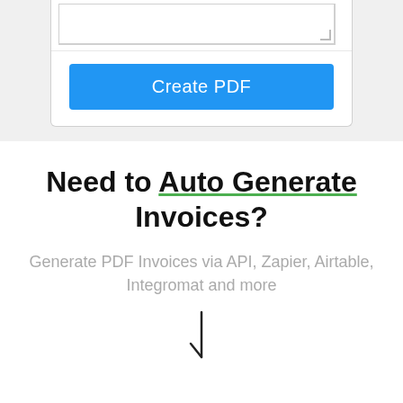[Figure (screenshot): UI form card showing a textarea and a blue 'Create PDF' button on a light grey background]
Need to Auto Generate Invoices?
Generate PDF Invoices via API, Zapier, Airtable, Integromat and more
[Figure (illustration): Partial arrow or cursor illustration at the bottom of the page]